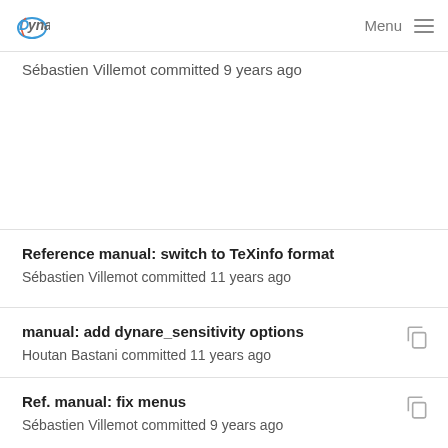Dynare | Menu
Sébastien Villemot committed 9 years ago
Reference manual: switch to TeXinfo format
Sébastien Villemot committed 11 years ago
manual: add dynare_sensitivity options
Houtan Bastani committed 11 years ago
Ref. manual: fix menus
Sébastien Villemot committed 9 years ago
manual: add dynare_sensitivity options
Houtan Bastani committed 11 years ago